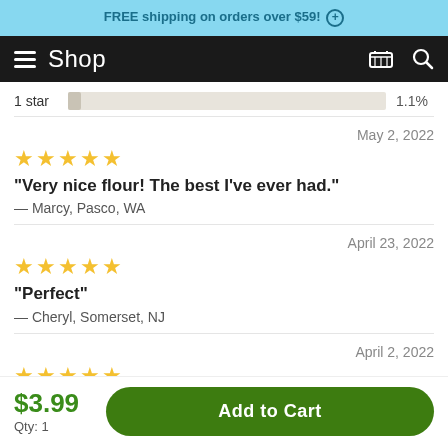FREE shipping on orders over $59! (+)
Shop
1 star  1.1%
May 2, 2022
★★★★★
"Very nice flour! The best I've ever had."
— Marcy, Pasco, WA
April 23, 2022
★★★★★
"Perfect"
— Cheryl, Somerset, NJ
April 2, 2022
★★★★★
"I switched from store bought processed flour, my body...
$3.99
Qty: 1
Add to Cart